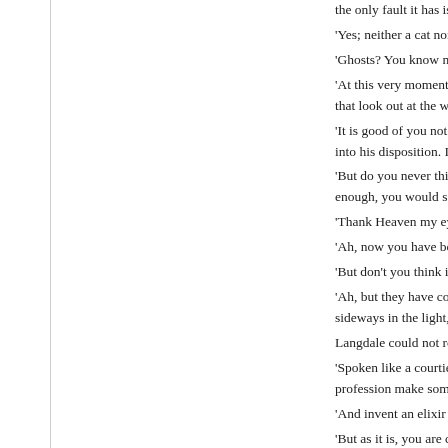the only fault it has is that it ke
'Yes; neither a cat nor a marig
'Ghosts? You know nothing of
'At this very moment the air is that look out at the window ar
'It is good of you not to speak into his disposition. I think the
'But do you never think how d enough, you would see wrinkl
'Thank Heaven my eyes are n
'Ah, now you have betrayed y
'But don't you think it is time e
'Ah, but they have come. I dis sideways in the light,' and Ste
Langdale could not resist laug
'Spoken like a courtier. But it profession make some real ac
'And invent an elixir for renew
'But as it is, you are chiefly co
'And thwarting the beneficent